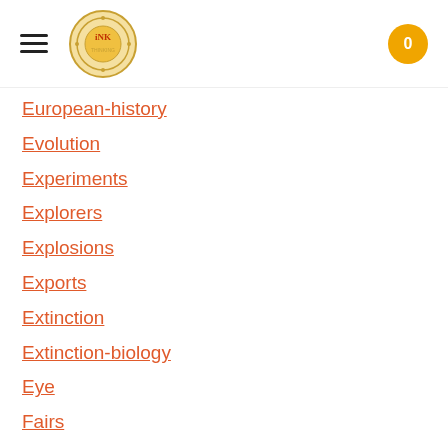INK logo, hamburger menu, cart button (0)
European-history
Evolution
Experiments
Explorers
Explosions
Exports
Extinction
Extinction-biology
Eye
Fairs
Fawkes-guy
Federalgovernment
Film
Fires
Fishes